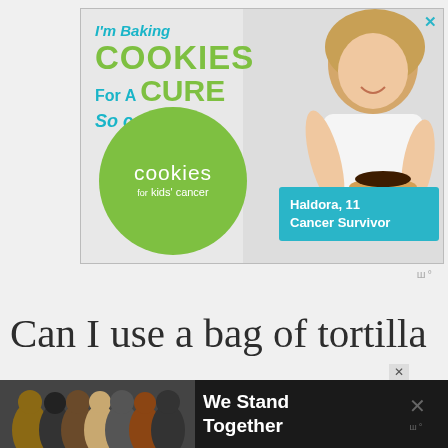[Figure (illustration): Advertisement for 'Cookies for Kids' Cancer' charity baking campaign. Features text 'I'm Baking COOKIES For A CURE So can you!' in teal and green on a light gray background. Shows a smiling young blonde girl holding a plate of cookies with chocolate topping. Green circle logo reads 'cookies for kids' cancer'. Teal box reads 'Haldora, 11 Cancer Survivor'. Close X button top right.]
ш° (Moat logo/watermark)
Can I use a bag of tortilla
[Figure (illustration): Bottom advertisement banner on dark background showing group of diverse people with arms around each other seen from behind. Text reads 'We Stand Together' in white bold font. Close X button visible. Moat watermark on right side.]